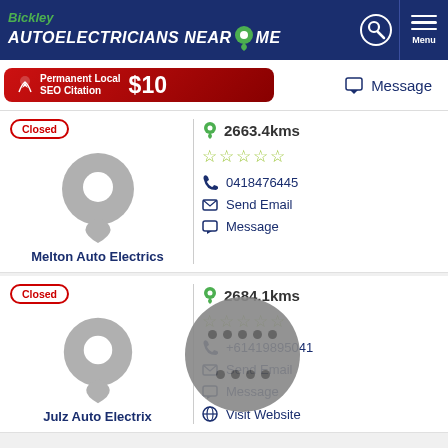Bickley AUTOELECTRICIANS NEAR ME
[Figure (infographic): Red banner ad: Permanent Local SEO Citation $10]
Message
Closed | 2663.4kms | 0418476445 | Send Email | Message | Melton Auto Electrics
Closed | 2684.1kms | +61419895041 | Send Email | Message | Visit Website | Julz Auto Electrix